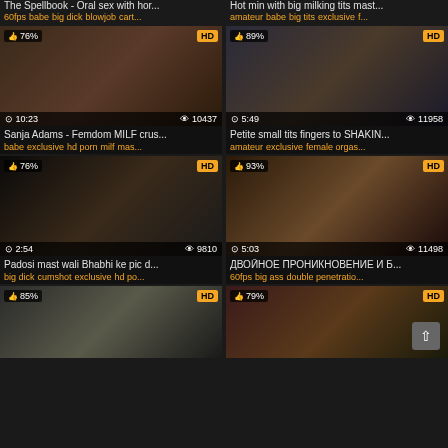The Spellbook - Oral sex with hor... | Hot min with big milking tits mast...
60fps babe big dick blowjob cart... | amateur babe big tits exclusive f...
[Figure (screenshot): Video thumbnail showing 76% rating, HD badge, duration 10:23, views 10437]
Sanja Adams - Femdom MILF crus...
babe exclusive hd porn milf mas...
[Figure (screenshot): Video thumbnail showing 89% rating, HD badge, duration 5:49, views 11958]
Petite small tits fingers to SHAKIN...
amateur exclusive female orgas...
[Figure (screenshot): Video thumbnail showing 76% rating, HD badge, duration 2:54, views 9810]
Padosi mast wali Bhabhi ke pic d...
big dick cumshot exclusive hd po...
[Figure (screenshot): Video thumbnail showing 93% rating, HD badge, duration 5:03, views 11498]
ДВОЙНОЕ ПРОНИКНОВЕНИЕ И Б...
60fps big ass double penetratio...
[Figure (screenshot): Video thumbnail showing 85% rating, HD badge, partial view]
[Figure (screenshot): Video thumbnail showing 79% rating, HD badge, partial view]